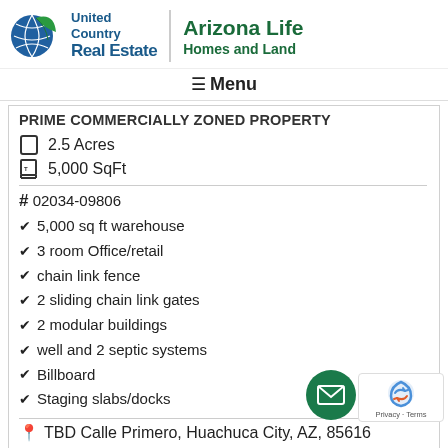[Figure (logo): United Country Real Estate / Arizona Life Homes and Land logo]
≡ Menu
PRIME COMMERCIALLY ZONED PROPERTY
2.5 Acres
5,000 SqFt
# 02034-09806
5,000 sq ft warehouse
3 room Office/retail
chain link fence
2 sliding chain link gates
2 modular buildings
well and 2 septic systems
Billboard
Staging slabs/docks
TBD Calle Primero, Huachuca City, AZ, 85616